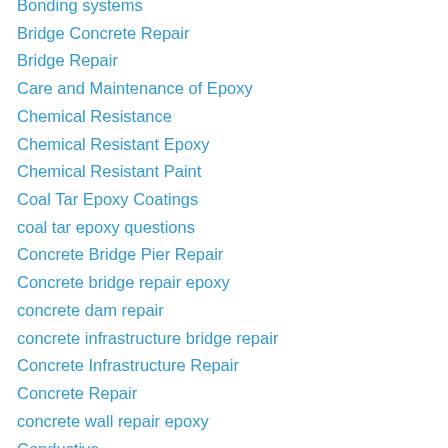Bonding systems
Bridge Concrete Repair
Bridge Repair
Care and Maintenance of Epoxy
Chemical Resistance
Chemical Resistant Epoxy
Chemical Resistant Paint
Coal Tar Epoxy Coatings
coal tar epoxy questions
Concrete Bridge Pier Repair
Concrete bridge repair epoxy
concrete dam repair
concrete infrastructure bridge repair
Concrete Infrastructure Repair
Concrete Repair
concrete wall repair epoxy
Conductive
Conductive Epoxy
crack isolation epoxy
disinfect